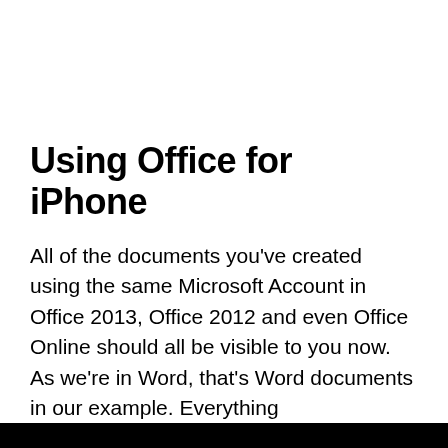Using Office for iPhone
All of the documents you've created using the same Microsoft Account in Office 2013, Office 2012 and even Office Online should all be visible to you now. As we're in Word, that's Word documents in our example. Everything
[Figure (screenshot): Black video player area with a white play button triangle in the center]